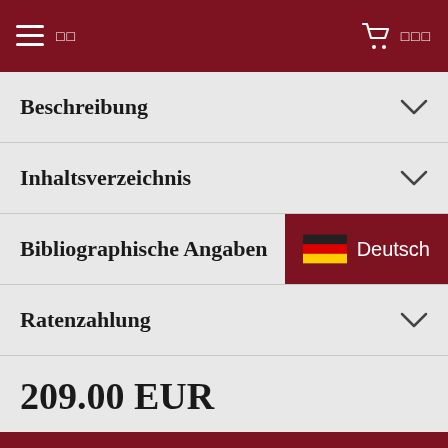≡ □□  [cart] □□□
Beschreibung
Inhaltsverzeichnis
Bibliographische Angaben
Ratenzahlung
209.00 EUR
□□  □ □